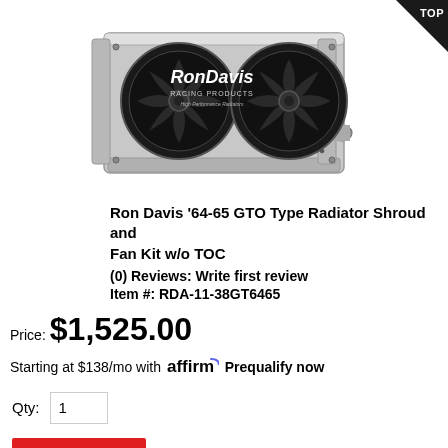[Figure (photo): Ron Davis Racing Products aluminum radiator shroud with two black fans mounted, shown at an angle on white background]
Ron Davis '64-65 GTO Type Radiator Shroud and Fan Kit w/o TOC
(0) Reviews: Write first review
Item #: RDA-11-38GT6465
Price: $1,525.00
Starting at $138/mo with affirm. Prequalify now
Qty: 1
Add To Cart